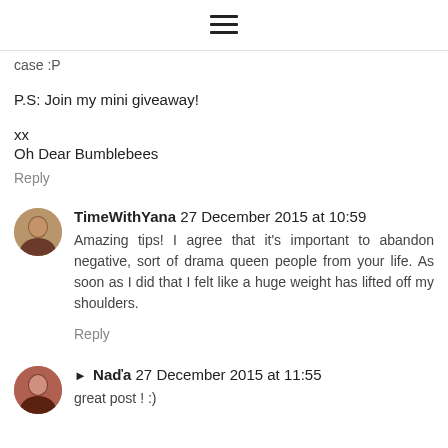☰ (hamburger menu icon)
case :P
P.S: Join my mini giveaway!
xx
Oh Dear Bumblebees
Reply
TimeWithYana  27 December 2015 at 10:59
Amazing tips! I agree that it's important to abandon negative, sort of drama queen people from your life. As soon as I did that I felt like a huge weight has lifted off my shoulders.
Reply
► Naďa  27 December 2015 at 11:55
great post ! :)